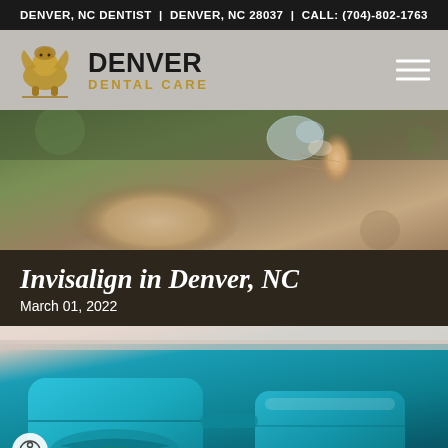DENVER, NC DENTIST | DENVER, NC 28037 | CALL: (704)-802-1763
[Figure (logo): Denver Dental Care logo with lion/griffin emblem and text DENVER DENTAL CARE]
[Figure (photo): Close-up photo of a hand holding a clear dental aligner/retainer between fingers against a blurred outdoor background]
Invisalign in Denver, NC
March 01, 2022
[Figure (photo): Photo of an Invisalign clear aligner case (teal/blue colored case) partially open showing the aligner inside, on a light pink background]